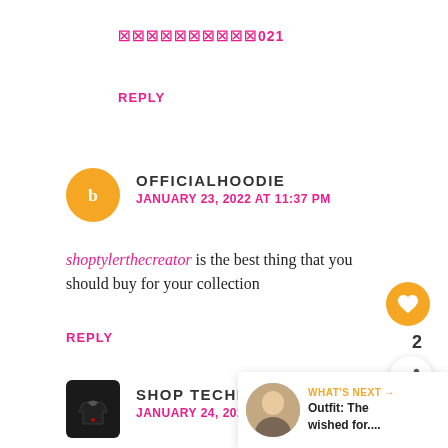🔴🔴🔴🔴🔴🔴🔴🔴🔴🔴021
REPLY
OFFICIALHOODIE
JANUARY 23, 2022 AT 11:37 PM
shoptylerthecreator is the best thing that you should buy for your collection
REPLY
SHOP TECHNO BLADE
JANUARY 24, 2022 AT 4:20 AM
WHAT'S NEXT → Outfit: The wished for....